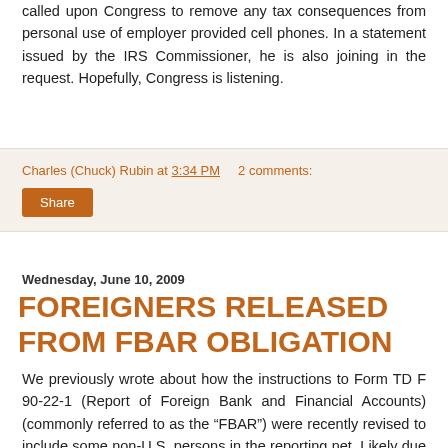called upon Congress to remove any tax consequences from personal use of employer provided cell phones. In a statement issued by the IRS Commissioner, he is also joining in the request. Hopefully, Congress is listening.
Charles (Chuck) Rubin at 3:34 PM    2 comments:
Share
Wednesday, June 10, 2009
FOREIGNERS RELEASED FROM FBAR OBLIGATION
We previously wrote about how the instructions to Form TD F 90-22-1 (Report of Foreign Bank and Financial Accounts) (commonly referred to as the “FBAR”) were recently revised to include some non-U.S. persons in the reporting net. Likely due to public concerns that requiring non-U.S. persons to report their foreign accounts to the U.S. government would adversely affect foreign investment in the U.S., the IRS is now backpedaling. In a recent announcement, it is indicating